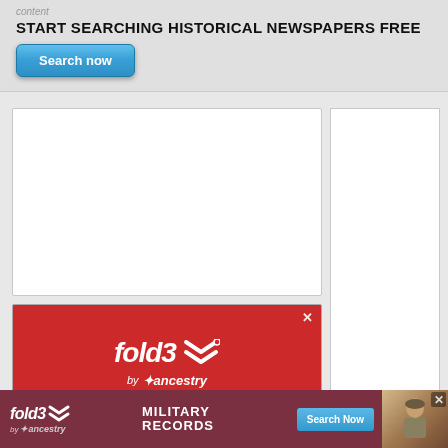content
START SEARCHING HISTORICAL NEWSPAPERS FREE
[Figure (screenshot): Search now button — blue gradient button with white text]
[Figure (screenshot): White main content area box (empty)]
[Figure (screenshot): White sidebar area (empty)]
[Figure (screenshot): Fold3 by ancestry advertisement — red background with fold3 logo and chevron marks]
[Figure (screenshot): Bottom sticky banner ad: fold3 by ancestry — Military Records — Search Now button — vintage soldier photo]